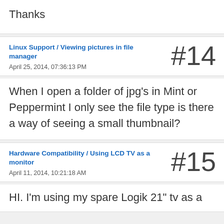Thanks
Linux Support / Viewing pictures in file manager
April 25, 2014, 07:36:13 PM
#14
When I open a folder of jpg's in Mint or Peppermint I only see the file type is there a way of seeing a small thumbnail?
Hardware Compatibility / Using LCD TV as a monitor
April 11, 2014, 10:21:18 AM
#15
HI.  I'm using my spare Logik 21" tv as a